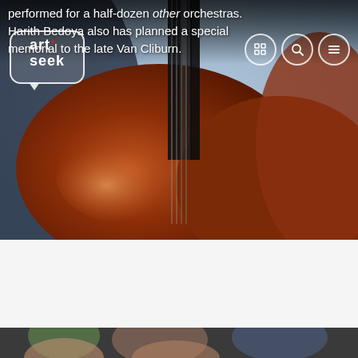[Figure (photo): Close-up photo of a cello or double bass instrument with strings, in warm brown tones with a bluish halftone background, partially overlaid with white text and navigation UI elements.]
performed for a half-dozen other orchestras. Harith Bedoya also has planned a special memorial to the late Van Cliburn.
[Figure (logo): ArtSeek logo in a rounded rectangle speech-bubble shape with white border and tail, showing 'art' with a red dot and 'seek' in bold white text.]
[Figure (screenshot): Three circular navigation icon buttons on the right side: a grid/table icon, a search/magnifier icon, and a hamburger menu icon, all with white outlines on transparent background.]
[Figure (photo): Bottom strip showing the start of another photo — appears to show people, partially visible at bottom of page.]